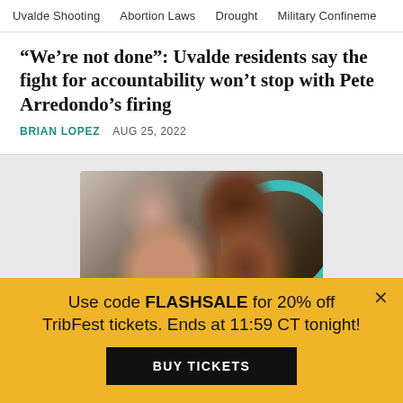Uvalde Shooting   Abortion Laws   Drought   Military Confinement
“We’re not done”: Uvalde residents say the fight for accountability won’t stop with Pete Arredondo’s firing
BRIAN LOPEZ   AUG 25, 2022
[Figure (photo): Two young girls smiling and laughing together, with a teal circle graphic element in the background]
Use code FLASHSALE for 20% off TribFest tickets. Ends at 11:59 CT tonight!
BUY TICKETS